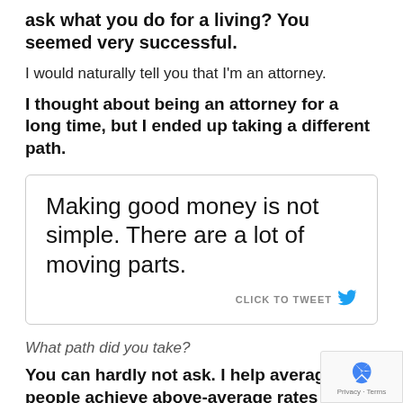ask what you do for a living? You seemed very successful.
I would naturally tell you that I'm an attorney.
I thought about being an attorney for a long time, but I ended up taking a different path.
[Figure (other): Tweet quote box: 'Making good money is not simple. There are a lot of moving parts.' with CLICK TO TWEET action and Twitter bird icon]
What path did you take?
You can hardly not ask. I help average people achieve above-average rates of